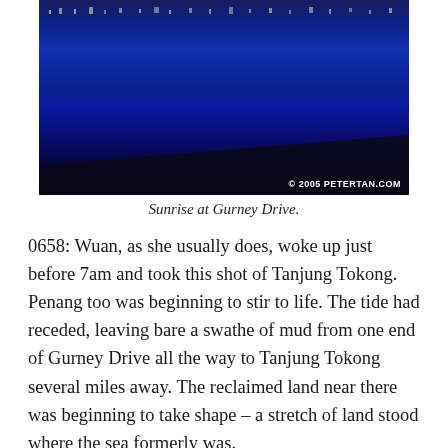[Figure (photo): A blue-toned night or pre-dawn photograph of Tanjung Tokong, Penang, taken from Gurney Drive. City lights are visible along the horizon with dark water and sky in deep blue hues. Copyright mark reads '© 2005 PETERTAN.COM' in the bottom right corner.]
Sunrise at Gurney Drive.
0658: Wuan, as she usually does, woke up just before 7am and took this shot of Tanjung Tokong. Penang too was beginning to stir to life. The tide had receded, leaving bare a swathe of mud from one end of Gurney Drive all the way to Tanjung Tokong several miles away. The reclaimed land near there was beginning to take shape – a stretch of land stood where the sea formerly was.